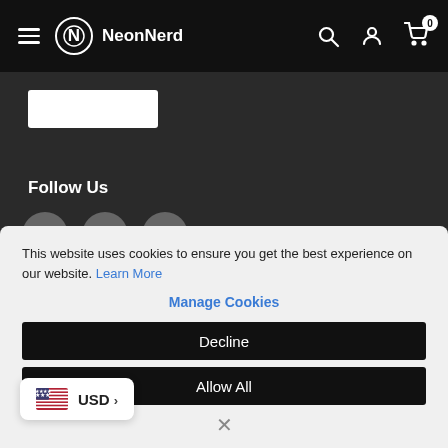NeonNerd - navigation bar with hamburger menu, logo, search, account, and cart icons
[Figure (screenshot): White rectangular input/search box]
Follow Us
[Figure (infographic): Social media icons: Facebook, Twitter, Instagram - circular grey buttons]
This website uses cookies to ensure you get the best experience on our website. Learn More
Manage Cookies
Decline
Allow All
[Figure (infographic): US flag currency selector showing USD with chevron]